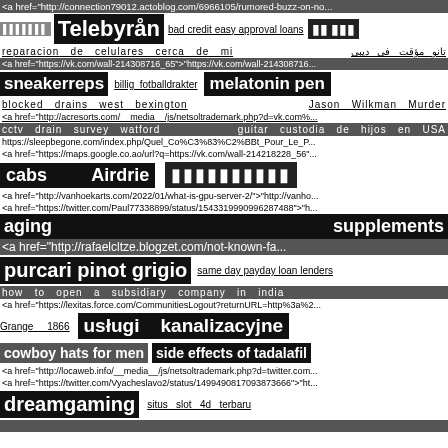<a href="http://connection79012.actoblog.com/6966105/rumored-buzz-on-no...
Telebyrån   bad credit easy approval loans   [symbols]
reparacion de celulares cerca de mi   تانو مؤقت في دبي
<a href="https://vk.com/wall-214308716_65">"https://vk.com/wall-214308716...
sneakerreps   billig fotballdrakter   melatonin pen
blocked drains west bexington   Jason Wilkman Murder
<a href="http://acresorts.com/__media__/js/netsoltrademark.php?d=vk.com%...
cctv drain survey watford   guitar custodia de hijos en USA
https://sleepbegone.com/index.php/Quel_Co%C3%83%C2%BBt_Pour_Le_P...
<a href="https://maps.google.co.ao/url?q=https://vk.com/wall-214218228_56"...
cabs   Airdrie   [block symbols]
<a href="http://vanhoekarts.com/2022/01/what-is-gpu-server-2/">"http://vanho...
<a href="https://twitter.com/Paul77338899/status/1543319990996287488">"h...
aging   supplements
<a href="http://rafaelcltze.blogzet.com/not-known-fa...
purcari pinot grigio   same day payday loan lenders
how to open a subsidiary company in india
<a href="https://lexitas.force.com/CommunitiesLogout?returnURL=http%3a%2...
Grange   1866   usługi kanalizacyjne
cowboy hats for men   side effects of tadalafil
<a href="http://locaweb.info/__media__/js/netsoltrademark.php?d=twitter.com...
<a href="https://twitter.com/Vyacheslavo2/status/1499490817093873666">"ht...
dreamgaming   situs slot 4d terbaru